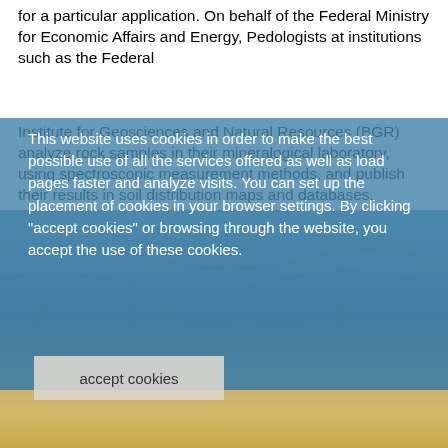for a particular application. On behalf of the Federal Ministry for Economic Affairs and Energy, Pedologists at institutions such as the Federal Institute for Geosciences and Natural Resources (BGR) analyze rock samples in their mineralogical laboratory, using spectroscopic measurement methods, and publish their results in soil distribution maps and databases.
This website uses cookies in order to make the best possible use of all the services offered as well as load pages faster and analyze visits. You can set up the placement of cookies in your browser settings. By clicking "accept cookies" or browsing through the website, you accept the use of these cookies.
[Figure (photo): Geological/landscape photograph showing rock formations and sandy terrain, partially obscured by blue cookie consent overlay]